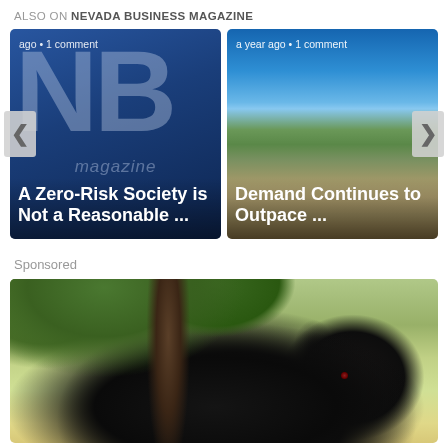ALSO ON NEVADA BUSINESS MAGAZINE
[Figure (screenshot): Carousel showing two article cards with navigation arrows. Card 1: NB magazine logo background with text 'ago • 1 comment' and title 'A Zero-Risk Society is Not a Reasonable ...' Card 2: Mountain/house photo with text 'a year ago • 1 comment' and title 'Demand Continues to Outpace ...']
Sponsored
[Figure (photo): A large black Cane Corso dog photographed outdoors near a tree trunk, with foliage in background]